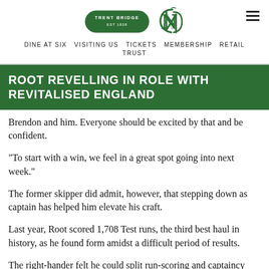DINE AT SIX  VISITING US  TICKETS  MEMBERSHIP  RETAIL  TRUST
ROOT REVELLING IN ROLE WITH REVITALISED ENGLAND
Brendon and him. Everyone should be excited by that and be confident.
“To start with a win, we feel in a great spot going into next week.”
The former skipper did admit, however, that stepping down as captain has helped him elevate his craft.
Last year, Root scored 1,708 Test runs, the third best haul in history, as he found form amidst a difficult period of results.
The right-hander felt he could split run-scoring and captaincy well, but that being able to concentrate solely on